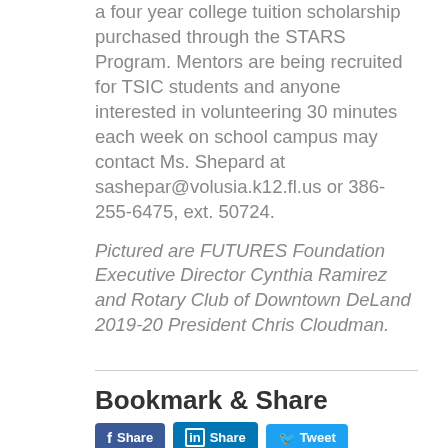a four year college tuition scholarship purchased through the STARS Program. Mentors are being recruited for TSIC students and anyone interested in volunteering 30 minutes each week on school campus may contact Ms. Shepard at sashepar@volusia.k12.fl.us or 386-255-6475, ext. 50724.
Pictured are FUTURES Foundation Executive Director Cynthia Ramirez and Rotary Club of Downtown DeLand 2019-20 President Chris Cloudman.
Bookmark & Share
[Figure (other): Social sharing buttons: Facebook Share, LinkedIn Share, Twitter Tweet]
User Comments